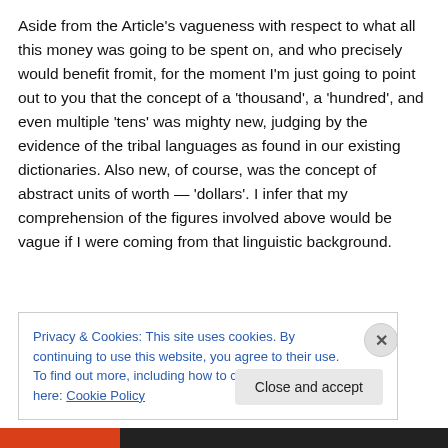Aside from the Article's vagueness with respect to what all this money was going to be spent on, and who precisely would benefit fromit, for the moment I'm just going to point out to you that the concept of a 'thousand', a 'hundred', and even multiple 'tens' was mighty new, judging by the evidence of the tribal languages as found in our existing dictionaries. Also new, of course, was the concept of abstract units of worth — 'dollars'. I infer that my comprehension of the figures involved above would be vague if I were coming from that linguistic background.
Privacy & Cookies: This site uses cookies. By continuing to use this website, you agree to their use.
To find out more, including how to control cookies, see here: Cookie Policy